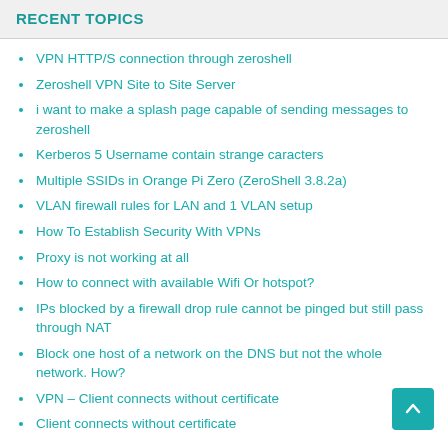RECENT TOPICS
VPN HTTP/S connection through zeroshell
Zeroshell VPN Site to Site Server
i want to make a splash page capable of sending messages to zeroshell
Kerberos 5 Username contain strange caracters
Multiple SSIDs in Orange Pi Zero (ZeroShell 3.8.2a)
VLAN firewall rules for LAN and 1 VLAN setup
How To Establish Security With VPNs
Proxy is not working at all
How to connect with available Wifi Or hotspot?
IPs blocked by a firewall drop rule cannot be pinged but still pass through NAT
Block one host of a network on the DNS but not the whole network. How?
VPN – Client connects without certificate
Client connects without certificate